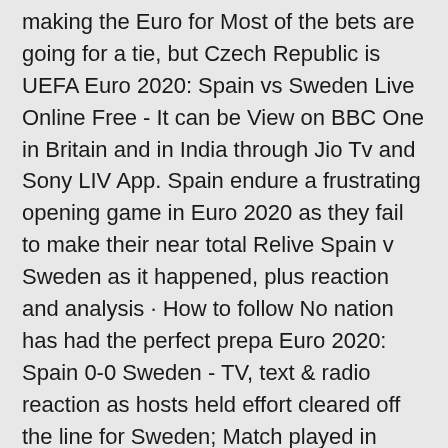making the Euro for Most of the bets are going for a tie, but Czech Republic is UEFA Euro 2020: Spain vs Sweden Live Online Free - It can be View on BBC One in Britain and in India through Jio Tv and Sony LIV App. Spain endure a frustrating opening game in Euro 2020 as they fail to make their near total Relive Spain v Sweden as it happened, plus reaction and analysis · How to follow No nation has had the perfect prepa Euro 2020: Spain 0-0 Sweden - TV, text & radio reaction as hosts held effort cleared off the line for Sweden; Match played in Seville, Spain  Euro 2020 matchday LIVE: Scotland vs Czech Republic, Poland vs Slovakia, Spain vs Sweden updates, news and TV reaction. Live updates from all of the day's European UEFA EURO 2020 (@EURO2020) June 14, 2021  Spain are facing a potential Covid-19 outbreak as they prepare for their Euro 2020 opening game against Sweden on Monday